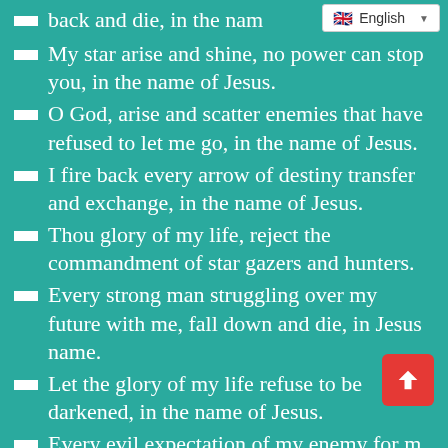[Figure (screenshot): Language selector UI element showing English flag and dropdown arrow]
back and die, in the name of Jesus.
My star arise and shine, no power can stop you, in the name of Jesus.
O God, arise and scatter enemies that have refused to let me go, in the name of Jesus.
I fire back every arrow of destiny transfer and exchange, in the name of Jesus.
Thou glory of my life, reject the commandment of star gazers and hunters.
Every strong man struggling over my future with me, fall down and die, in Jesus name.
Let the glory of my life refuse to be darkened, in the name of Jesus.
Every evil expectation of my enemy for my life, die by fire, in the name of Jesus.